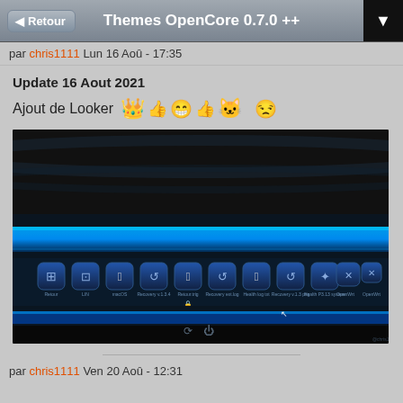Themes OpenCore 0.7.0 ++
par chris1111 Lun 16 Aoû - 17:35
Update 16 Aout 2021
Ajout de Looker 👑👍😁👍🐱 😒
[Figure (screenshot): Screenshot of OpenCore boot theme showing a dark metallic interface with blue horizontal stripe and multiple boot option icons in a row]
par chris1111 Ven 20 Aoû - 12:31